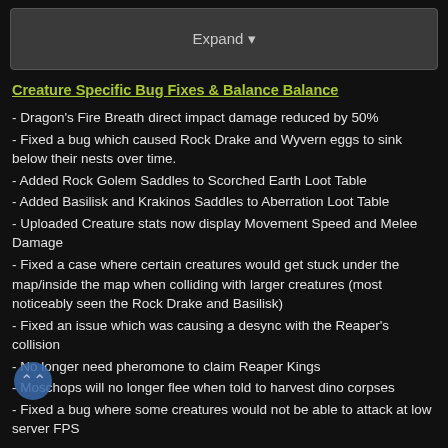[Figure (screenshot): Expand dropdown button bar with dark gray background]
Creature Specific Bug Fixes & Balance Balance
- Dragon's Fire Breath direct impact damage reduced by 50%
- Fixed a bug which caused Rock Drake and Wyvern eggs to sink below their nests over time.
- Added Rock Golem Saddles to Scorched Earth Loot Table
- Added Basilisk and Krakinos Saddles to Aberration Loot Table
- Uploaded Creature stats now display Movement Speed and Melee Damage
- Fixed a case where certain creatures would get stuck under the map/inside the map when colliding with larger creatures (most noticeably seen the Rock Drake and Basilisk)
- Fixed an issue which was causing a desync with the Reaper's collision
- No longer need pheromone to claim Reaper Kings
- Moschops will no longer flee when told to harvest dino corpses
- Fixed a bug where some creatures would not be able to attack at low server FPS